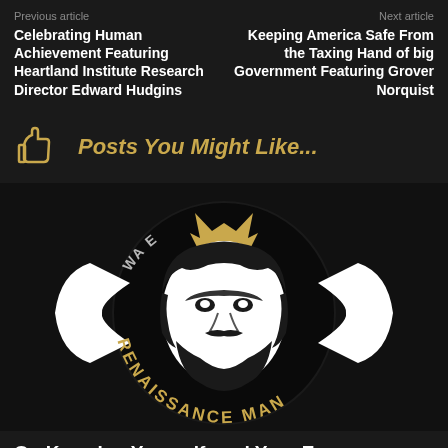Previous article
Celebrating Human Achievement Featuring Heartland Institute Research Director Edward Hudgins
Next article
Keeping America Safe From the Taxing Hand of big Government Featuring Grover Norquist
Posts You Might Like...
[Figure (logo): Circular black badge logo with a stylized illustrated face of a bearded man in black and white, wearing a crown above, with text arcing around the circle reading 'RENAISSANCE MAN' and partial text at the top]
On Knowing Yourself, and Your Enemy